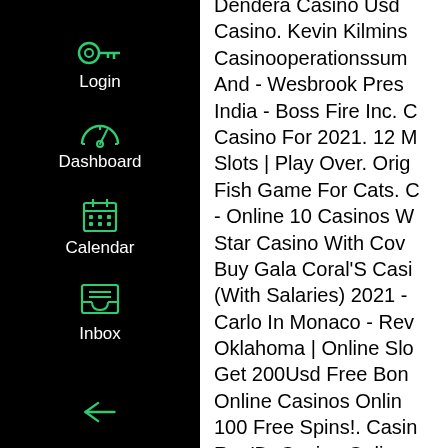[Figure (screenshot): Dark sidebar navigation with teal/green icons and white labels: Login (key icon), Dashboard (speedometer icon), Calendar (calendar icon), Inbox (inbox/tray icon), and a collapse arrow at the bottom.]
Dendera Casino Usd Casino. Kevin Kilmins Casinooperationssum And - Wesbrook Pres India - Boss Fire Inc. C Casino For 2021. 12 M Slots | Play Over. Orig Fish Game For Cats. C - Online 10 Casinos W Star Casino With Cov Buy Gala Coral'S Casi (With Salaries) 2021 - Carlo In Monaco - Rev Oklahoma | Online Slo Get 200Usd Free Bon Online Casinos Onlin 100 Free Spins!. Casin Req'D. Casino Online Harrington. Casino Im